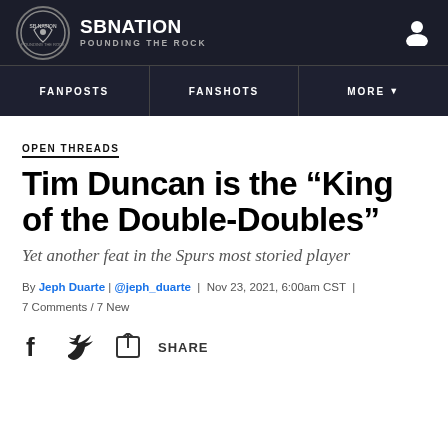SBNATION POUNDING THE ROCK
FANPOSTS | FANSHOTS | MORE
OPEN THREADS
Tim Duncan is the “King of the Double-Doubles”
Yet another feat in the Spurs most storied player
By Jeph Duarte | @jeph_duarte | Nov 23, 2021, 6:00am CST | 7 Comments / 7 New
[Figure (other): Social share icons: Facebook, Twitter, and a share button with label SHARE]